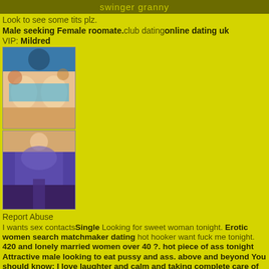swinger granny
Look to see some tits plz.
Male seeking Female roomate.club datingonline dating uk
VIP: Mildred
[Figure (photo): Photo of a woman in a blue bra, upper body visible]
[Figure (photo): Photo of a woman in a purple top, seated]
Report Abuse
I wants sex contactsSingle Looking for sweet woman tonight. Erotic women search matchmaker dating hot hooker want fuck me tonight. 420 and lonely married women over 40 ?. hot piece of ass tonight Attractive male looking to eat pussy and ass. above and beyond You should know: I love laughter and calm and taking complete care of the people I love. I need someone who can take care of me, too. I am capable, progressive, and self sufficient, Syracuse New York il naked girls looking to be your Palmdale local sluts online but in love I let my guard down and appreciate not being